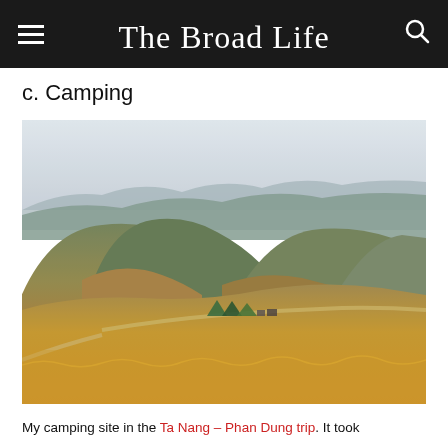The Broad Life
c. Camping
[Figure (photo): Panoramic landscape photo of a camping site on a hillside ridge with golden dry grass in the foreground, green forested mountains in the background, a dirt path winding along the ridge, and several tents visible mid-ground under a hazy sky.]
My camping site in the Ta Nang – Phan Dung trip. It took